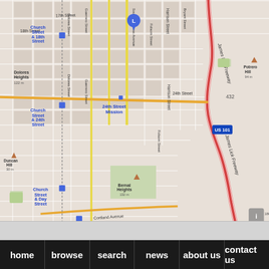[Figure (map): Street map of San Francisco Mission District showing transit stops along a route on Church Street/Dolores Street. Labels visible: Mission (top center), 17th Street, 18th Street, 24th Street, Church Street & 18th Street, Church Street & 24th Street, Church Street & Day Street, Dolores Heights 122m, Duncan Hill 30m, Bernal Heights 132m, Potrero Hill 94m, 24th Street Mission, Harrison Street, Bryant Street, Folsom Street, Guerrero Street, South Van Ness Avenue, James Lick Freeway, US 101, 432, Cortland Avenue, San Jose. A blue location pin (L marker) is shown near South Van Ness Avenue and 18th Street. A dotted route line runs from top to bottom along Church/Dolores Street with blue square transit stop markers. Major roads highlighted in yellow/orange.]
home   browse   search   news   about us   contact us